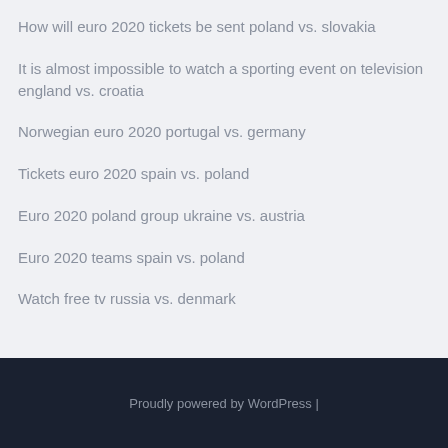How will euro 2020 tickets be sent poland vs. slovakia
It is almost impossible to watch a sporting event on television england vs. croatia
Norwegian euro 2020 portugal vs. germany
Tickets euro 2020 spain vs. poland
Euro 2020 poland group ukraine vs. austria
Euro 2020 teams spain vs. poland
Watch free tv russia vs. denmark
Proudly powered by WordPress |